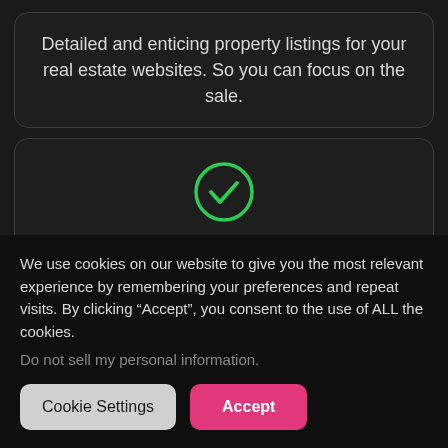Detailed and enticing property listings for your real estate websites. So you can focus on the sale.
[Figure (illustration): Green checkmark circle icon]
Case Study Generator
Generate a case study based on a client name and a
We use cookies on our website to give you the most relevant experience by remembering your preferences and repeat visits. By clicking “Accept”, you consent to the use of ALL the cookies.
Do not sell my personal information.
Cookie Settings
Accept